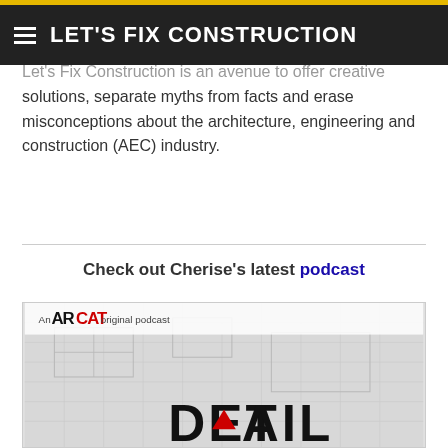LET'S FIX CONSTRUCTION
Let's Fix Construction is an avenue to offer creative solutions, separate myths from facts and erase misconceptions about the architecture, engineering and construction (AEC) industry.
Check out Cherise's latest podcast
[Figure (other): ARCAT original podcast promotional image showing blueprint background with 'An ARCAT original podcast' text and partial 'DETAILED' title text at bottom]